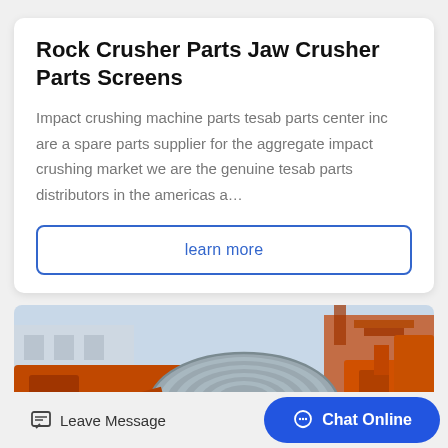Rock Crusher Parts Jaw Crusher Parts Screens
Impact crushing machine parts tesab parts center inc are a spare parts supplier for the aggregate impact crushing market we are the genuine tesab parts distributors in the americas a…
learn more
[Figure (photo): Industrial orange rock crushing machinery with a large cylindrical drum/roller component in the foreground, set outdoors with industrial buildings in the background. A rocket emoji icon appears in the lower right.]
Leave Message
Chat Online